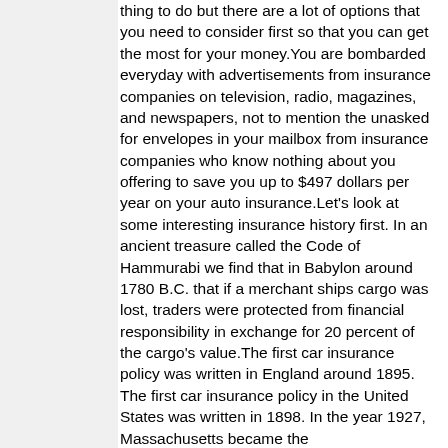thing to do but there are a lot of options that you need to consider first so that you can get the most for your money.You are bombarded everyday with advertisements from insurance companies on television, radio, magazines, and newspapers, not to mention the unasked for envelopes in your mailbox from insurance companies who know nothing about you offering to save you up to $497 dollars per year on your auto insurance.Let's look at some interesting insurance history first. In an ancient treasure called the Code of Hammurabi we find that in Babylon around 1780 B.C. that if a merchant ships cargo was lost, traders were protected from financial responsibility in exchange for 20 percent of the cargo's value.The first car insurance policy was written in England around 1895. The first car insurance policy in the United States was written in 1898. In the year 1927, Massachusetts became the